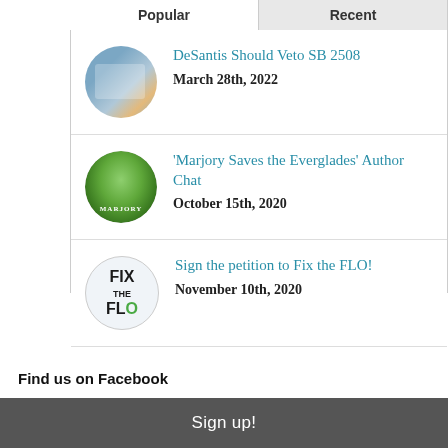Popular
Recent
DeSantis Should Veto SB 2508
March 28th, 2022
'Marjory Saves the Everglades' Author Chat
October 15th, 2020
Sign the petition to Fix the FLO!
November 10th, 2020
Find us on Facebook
Sign up!